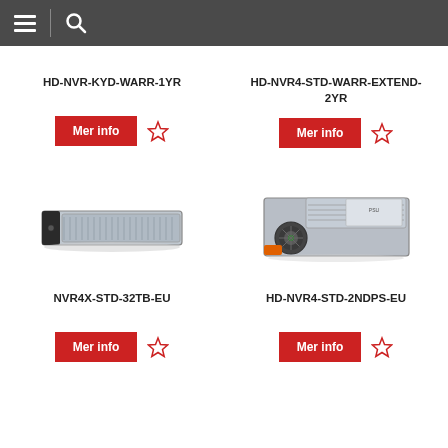Navigation header with menu and search icons
HD-NVR-KYD-WARR-1YR
HD-NVR4-STD-WARR-EXTEND-2YR
[Figure (other): Server rack unit product image, 2U rackmount server]
NVR4X-STD-32TB-EU
[Figure (other): Power supply unit product image, server PSU with green fan]
HD-NVR4-STD-2NDPS-EU